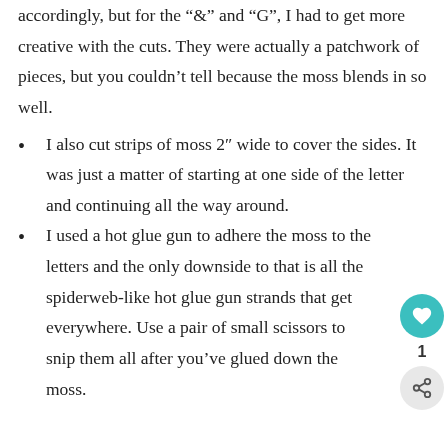accordingly, but for the “&” and “G”, I had to get more creative with the cuts. They were actually a patchwork of pieces, but you couldn’t tell because the moss blends in so well.
I also cut strips of moss 2″ wide to cover the sides. It was just a matter of starting at one side of the letter and continuing all the way around.
I used a hot glue gun to adhere the moss to the letters and the only downside to that is all the spiderweb-like hot glue gun strands that get everywhere. Use a pair of small scissors to snip them all after you’ve glued down the moss.